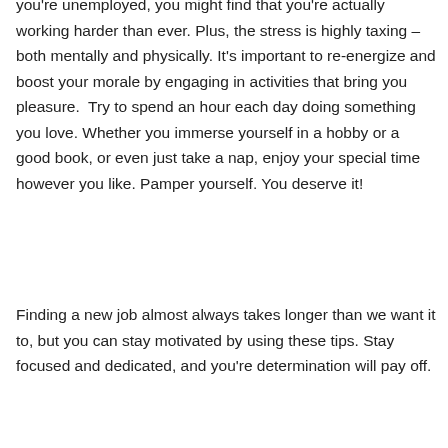you're unemployed, you might find that you're actually working harder than ever. Plus, the stress is highly taxing – both mentally and physically. It's important to re-energize and boost your morale by engaging in activities that bring you pleasure.  Try to spend an hour each day doing something you love. Whether you immerse yourself in a hobby or a good book, or even just take a nap, enjoy your special time however you like. Pamper yourself. You deserve it!
Finding a new job almost always takes longer than we want it to, but you can stay motivated by using these tips. Stay focused and dedicated, and you're determination will pay off.